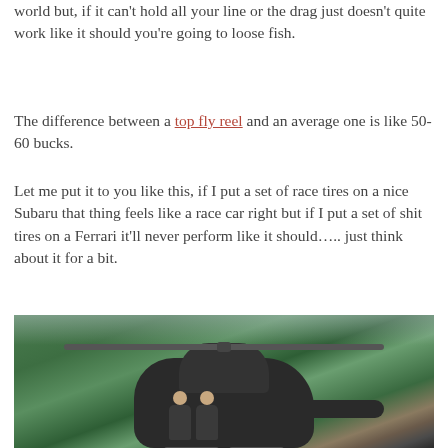world but, if it can't hold all your line or the drag just doesn't quite work like it should you're going to loose fish.
The difference between a top fly reel and an average one is like 50-60 bucks.
Let me put it to you like this, if I put a set of race tires on a nice Subaru that thing feels like a race car right but if I put a set of shit tires on a Ferrari it'll never perform like it should….. just think about it for a bit.
[Figure (photo): A helicopter on the ground with lush green forested hills in the background. Two people are visible near the helicopter.]